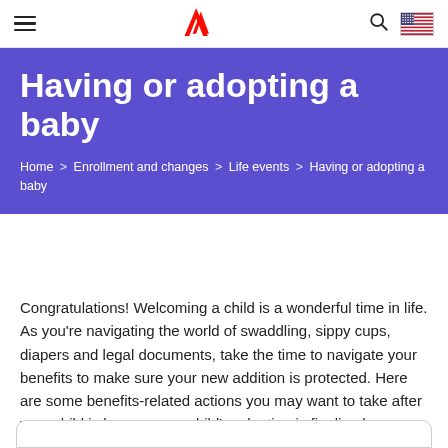Navigation bar with hamburger menu, Adobe logo, search icon, and US flag
Having or adopting a baby
Home > Enrollment and changes > Life events > Having or adopting a baby
Congratulations! Welcoming a child is a wonderful time in life. As you're navigating the world of swaddling, sippy cups, diapers and legal documents, take the time to navigate your benefits to make sure your new addition is protected. Here are some benefits-related actions you may want to take after your child is born or your child's adoption is finalized.